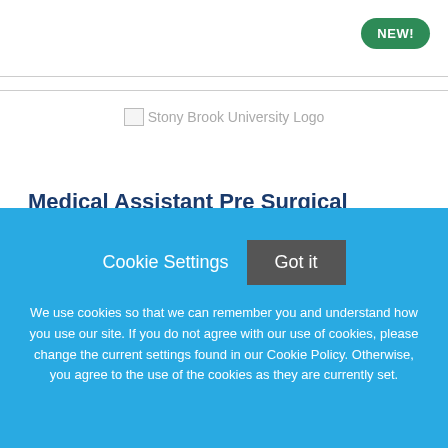[Figure (logo): Stony Brook University Logo placeholder image]
Medical Assistant Pre Surgical Admissions per diem days
Stony Brook University
Cookie Settings   Got it
We use cookies so that we can remember you and understand how you use our site. If you do not agree with our use of cookies, please change the current settings found in our Cookie Policy. Otherwise, you agree to the use of the cookies as they are currently set.